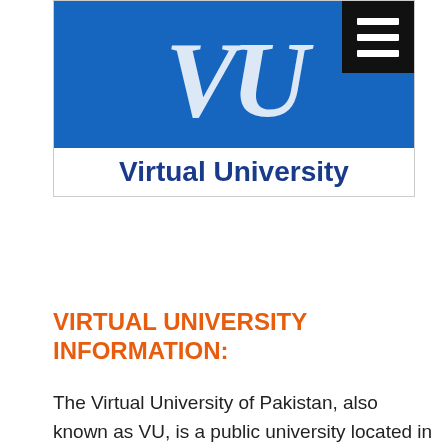[Figure (logo): Virtual University logo: blue background with large white italic 'VU' letters and 'Virtual University' text in dark blue below. A black hamburger menu icon appears in the top-right corner.]
VIRTUAL UNIVERSITY INFORMATION:
The Virtual University of Pakistan, also known as VU, is a public university located in the urban area Head Office M.A Jinnah Campus, Defence Road, Off Raiwind Road